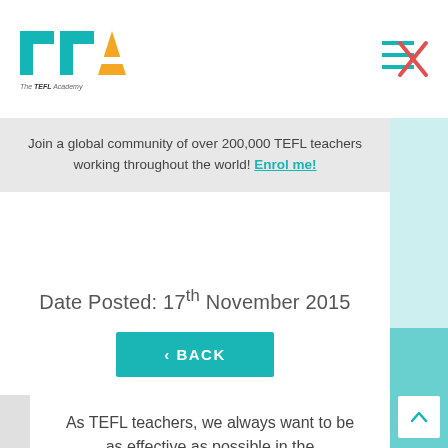The TEFL Academy
Join a global community of over 200,000 TEFL teachers working throughout the world! Enrol me!
Date Posted: 17th November 2015
< BACK
As TEFL teachers, we always want to be as effective as possible in the classroom. Even though we may be doing TEFL as a way to explore the world and experience new and magical things, there is still the